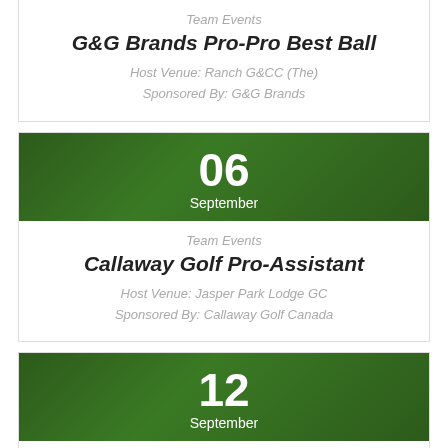Team Events
G&G Brands Pro-Pro Best Ball
Host Venue: Ranch G&CC (The)
Sponsored By: G&G Brands
06 September
Team Events
Callaway Golf Pro-Assistant
Host Venue: Jasper Park Lodge GC
Sponsored By: Callaway Golf Canada
12 September
PGA of Canada
PGA Assistants' Championship of